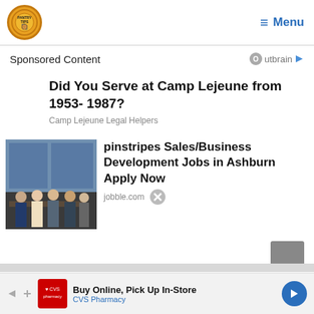Pantry Tips | Menu
Sponsored Content
Did You Serve at Camp Lejeune from 1953- 1987?
Camp Lejeune Legal Helpers
[Figure (photo): Office scene with people at a table, dark interior, large windows]
pinstripes Sales/Business Development Jobs in Ashburn Apply Now
jobble.com
Buy Online, Pick Up In-Store
CVS Pharmacy